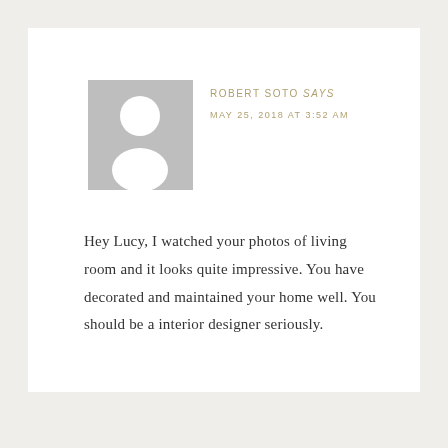[Figure (illustration): Generic user avatar placeholder — grey square with white silhouette of a person (head circle and body/shoulders shape)]
ROBERT SOTO says
MAY 25, 2018 AT 3:52 AM
Hey Lucy, I watched your photos of living room and it looks quite impressive. You have decorated and maintained your home well. You should be a interior designer seriously.
Reply